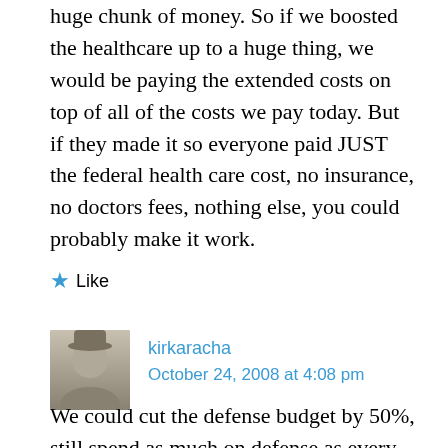huge chunk of money. So if we boosted the healthcare up to a huge thing, we would be paying the extended costs on top of all of the costs we pay today. But if they made it so everyone paid JUST the federal health care cost, no insurance, no doctors fees, nothing else, you could probably make it work.
★ Like
kirkaracha
October 24, 2008 at 4:08 pm
We could cut the defense budget by 50%, still spend as much on defense as every other